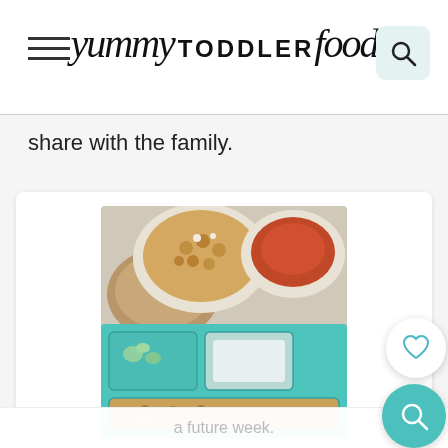yummy TODDLER food
share with the family.
[Figure (photo): Food photo showing Indian Chana Masala with rice in a teal divided toddler tray, with bowls of dal and sauce above]
Instant Pot Channa Masala with Rice
1,376
If you can't find garam masala, you can leave it out, though it adds authentic flavor that you'd expect if you've eaten Chana Masala in a restaurant. This will likely make enough for two meals—I like to freeze the second half for
a future week.